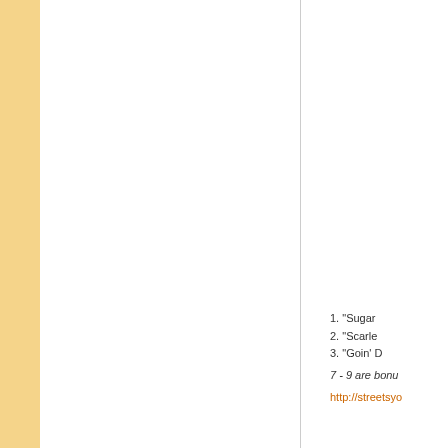1. "Sugar
2. "Scarle
3. "Goin' D
7 - 9 are bonu
http://streetsyo